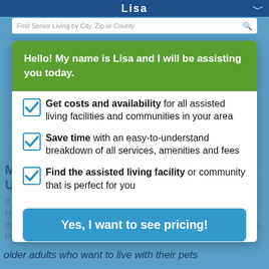Lisa
Hello! My name is Lisa and I will be assisting you today.
Get costs and availability for all assisted living facilities and communities in your area
Save time with an easy-to-understand breakdown of all services, amenities and fees
Find the assisted living facility or community that is perfect for you
Yes, I want to see pricing!
Or call (877) 663-0047